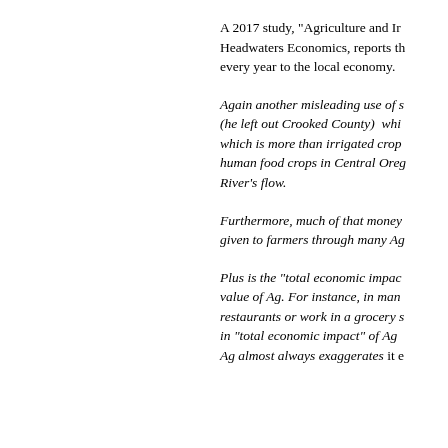A 2017 study, “Agriculture and Ir… Headwaters Economics, reports th… every year to the local economy.
Again another misleading use of s… (he left out Crooked County) whi… which is more than irrigated crop… human food crops in Central Oreg… River’s flow.
Furthermore, much of that money… given to farmers through many Ag…
Plus is the “total economic impac… value of Ag. For instance, in man… restaurants or work in a grocery s… in “total economic impact” of Ag… Ag almost always exaggerates it e…